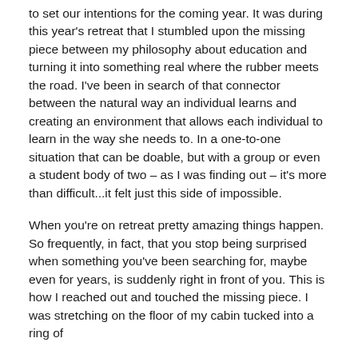to set our intentions for the coming year.  It was during this year's retreat that I stumbled upon the missing piece between my philosophy about education and turning it into something real where the rubber meets the road.  I've been in search of that connector between the natural way an individual learns and creating an environment that allows each individual to learn in the way she needs to.  In a one-to-one situation that can be doable, but with a group or even a student body of two – as I was finding out – it's more than difficult...it felt just this side of impossible.
When you're on retreat pretty amazing things happen.  So frequently, in fact, that you stop being surprised when something you've been searching for, maybe even for years, is suddenly right in front of you.  This is how I reached out and touched the missing piece.  I was stretching on the floor of my cabin tucked into a ring of